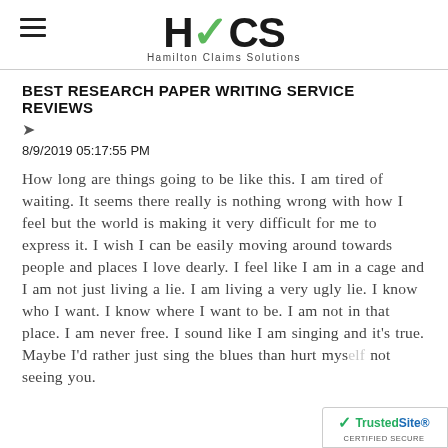HCS Hamilton Claims Solutions
BEST RESEARCH PAPER WRITING SERVICE REVIEWS
8/9/2019 05:17:55 PM
How long are things going to be like this. I am tired of waiting. It seems there really is nothing wrong with how I feel but the world is making it very difficult for me to express it. I wish I can be easily moving around towards people and places I love dearly. I feel like I am in a cage and I am not just living a lie. I am living a very ugly lie. I know who I want. I know where I want to be. I am not in that place. I am never free. I sound like I am singing and it's true. Maybe I'd rather just sing the blues than hurt mys... not seeing you.